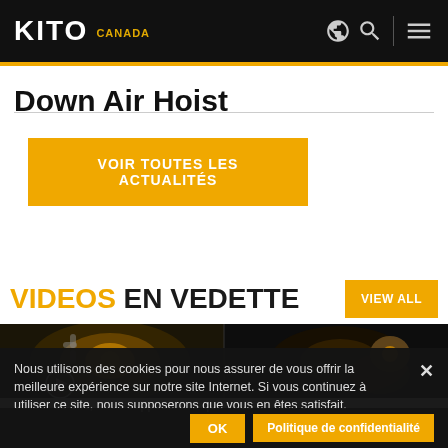KITO CANADA
Down Air Hoist
VOIR TOUTES LES ACTUALITÉS
VIDEOS EN VEDETTE
[Figure (photo): Dark industrial photo showing chain hoists and machinery lighting]
Nous utilisons des cookies pour nous assurer de vous offrir la meilleure expérience sur notre site Internet. Si vous continuez à utiliser ce site, nous supposerons que vous en êtes satisfait.
OK  Politique de confidentialité